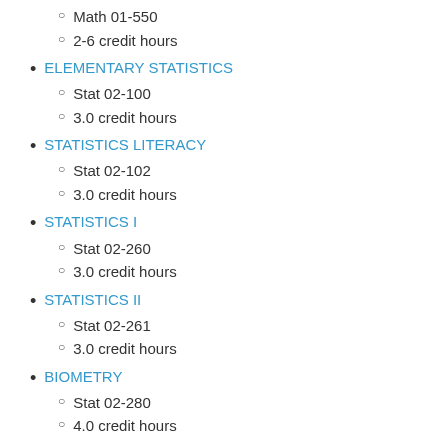Math 01-550
2-6 credit hours
ELEMENTARY STATISTICS
Stat 02-100
3.0 credit hours
STATISTICS LITERACY
Stat 02-102
3.0 credit hours
STATISTICS I
Stat 02-260
3.0 credit hours
STATISTICS II
Stat 02-261
3.0 credit hours
BIOMETRY
Stat 02-280
4.0 credit hours
STATISTICS FOR BIOMEDICAL SCIENCES
Stat 02-284
3.0 credit hours